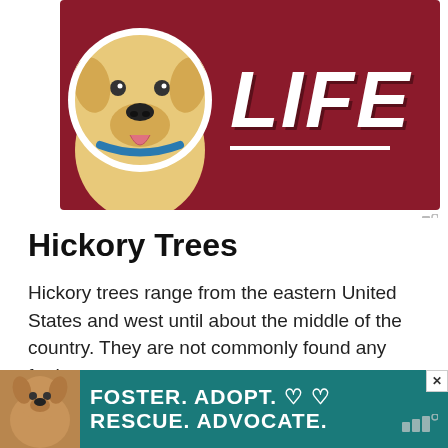[Figure (photo): Advertisement banner showing a golden Labrador dog on a dark red/maroon background with large white italic 'LIFE' text]
Hickory Trees
Hickory trees range from the eastern United States and west until about the middle of the country. They are not commonly found any further west.
These hardwood trees are not used as commonly as the softwood trees
[Figure (photo): Advertisement banner with teal/green background showing a brown dog on the left and white bold text reading 'FOSTER. ADOPT. RESCUE. ADVOCATE.' with heart icons]